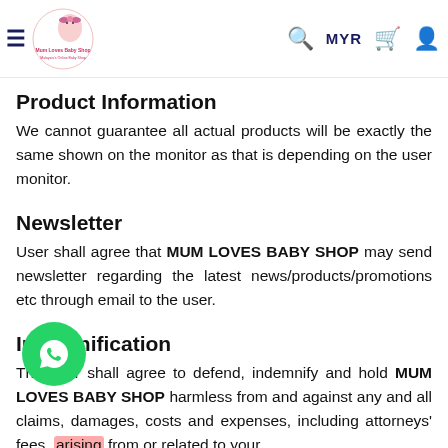Mum Loves Baby Shop — MYR [navigation header with logo, search, cart, and account icons]
Product Information
We cannot guarantee all actual products will be exactly the same shown on the monitor as that is depending on the user monitor.
Newsletter
User shall agree that MUM LOVES BABY SHOP may send newsletter regarding the latest news/products/promotions etc through email to the user.
Indemnification
The user shall agree to defend, indemnify and hold MUM LOVES BABY SHOP harmless from and against any and all claims, damages, costs and expenses, including attorneys' fees, arising from or related to your